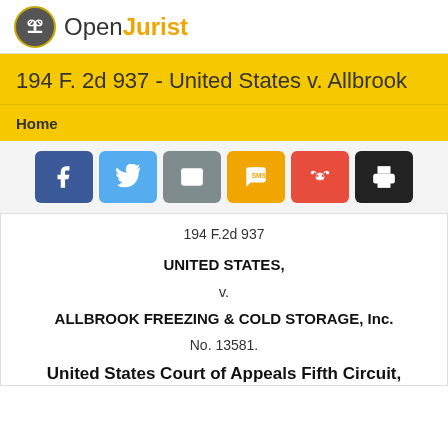[Figure (logo): OpenJurist logo with gavel icon in circle and text 'Open' in gray and 'Jurist' in orange]
194 F. 2d 937 - United States v. Allbrook
Home
[Figure (infographic): Row of six social sharing buttons: Facebook (blue), Twitter (light blue), Email (gray), SMS (orange), Reddit (red), Print (black)]
194 F.2d 937
UNITED STATES,
v.
ALLBROOK FREEZING & COLD STORAGE, Inc.
No. 13581.
United States Court of Appeals Fifth Circuit,